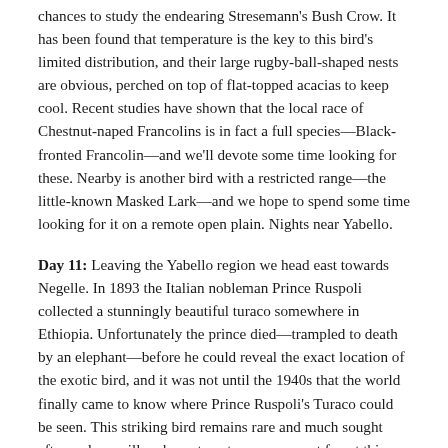chances to study the endearing Stresemann's Bush Crow. It has been found that temperature is the key to this bird's limited distribution, and their large rugby-ball-shaped nests are obvious, perched on top of flat-topped acacias to keep cool. Recent studies have shown that the local race of Chestnut-naped Francolins is in fact a full species—Black-fronted Francolin—and we'll devote some time looking for these. Nearby is another bird with a restricted range—the little-known Masked Lark—and we hope to spend some time looking for it on a remote open plain. Nights near Yabello.
Day 11: Leaving the Yabello region we head east towards Negelle. In 1893 the Italian nobleman Prince Ruspoli collected a stunningly beautiful turaco somewhere in Ethiopia. Unfortunately the prince died—trampled to death by an elephant—before he could reveal the exact location of the exotic bird, and it was not until the 1940s that the world finally came to know where Prince Ruspoli's Turaco could be seen. This striking bird remains rare and much sought after and we will make a stop at some remnant forest this morning with the hope of finding it.
Moving on, our road will take us through excellent habitat where gangs of Vulturine Guineafowl roam through the scrub, and we are guaranteed at least one encounter. This is good bush-shrike country,